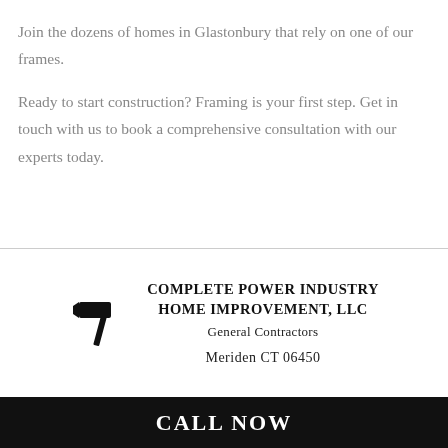Join the dozens of homes in Glastonbury that rely on one of our frames.
Ready to start construction? Framing is your first step. Get in touch with us to book a comprehensive consultation with our experts today.
[Figure (logo): Hammer icon silhouette (company logo)]
COMPLETE POWER INDUSTRY HOME IMPROVEMENT, LLC
General Contractors
Meriden CT 06450
CALL NOW